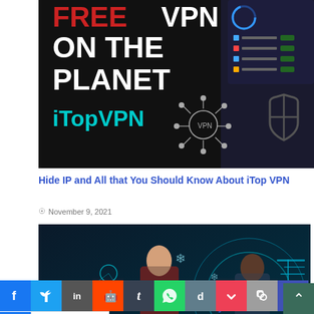[Figure (screenshot): iTop VPN advertisement image showing 'FREE VPN ON THE PLANET' and 'iTopVPN' branding with VPN network icon and shield logo, alongside a VPN app interface screenshot]
Hide IP and All that You Should Know About iTop VPN
November 9, 2021
[Figure (photo): Two people standing in a futuristic sci-fi blue glowing digital room/environment with network nodes visible in the background]
Escape Hour And How To Join Instantly